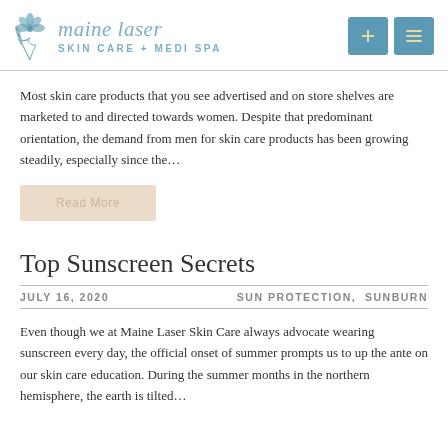maine laser SKIN CARE + MEDI SPA
Most skin care products that you see advertised and on store shelves are marketed to and directed towards women.  Despite that predominant orientation, the demand from men for skin care products has been growing steadily, especially since the…
Top Sunscreen Secrets
JULY 16, 2020   SUN PROTECTION,  SUNBURN
Even though we at Maine Laser Skin Care always advocate wearing sunscreen every day, the official onset of summer prompts us to up the ante on our skin care education.  During the summer months in the northern hemisphere, the earth is tilted…